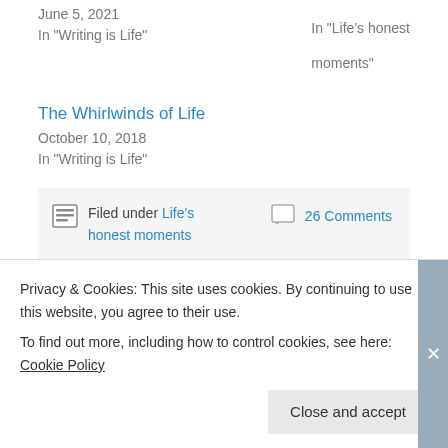June 5, 2021
In "Life's honest moments"
In "Writing is Life"
The Whirlwinds of Life
October 10, 2018
In "Writing is Life"
Filed under Life's honest moments   26 Comments
26 responses to “A
Privacy & Cookies: This site uses cookies. By continuing to use this website, you agree to their use.
To find out more, including how to control cookies, see here: Cookie Policy
Close and accept